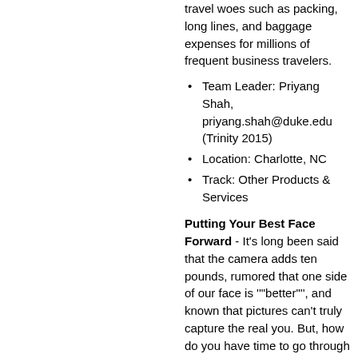travel woes such as packing, long lines, and baggage expenses for millions of frequent business travelers.
Team Leader: Priyang Shah, priyang.shah@duke.edu (Trinity 2015)
Location: Charlotte, NC
Track: Other Products & Services
Putting Your Best Face Forward - It's long been said that the camera adds ten pounds, rumored that one side of our face is ""better"", and known that pictures can't truly capture the real you. But, how do you have time to go through the more than 300 photos you'll take this year? How do you know if it's one of your top photos? All of us have better things to do than examine each one, but we still want to show our best photos.
Our application technology looks at photos on your phone, finds images with your face, and sorts them bringing the most flattering images of your face to you. You